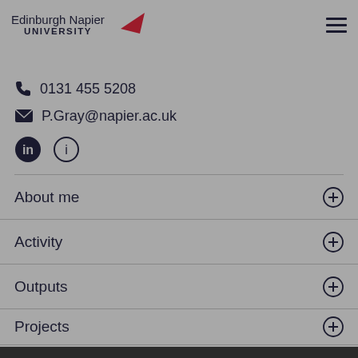Edinburgh Napier UNIVERSITY
0131 455 5208
P.Gray@napier.ac.uk
About me
Activity
Outputs
Projects